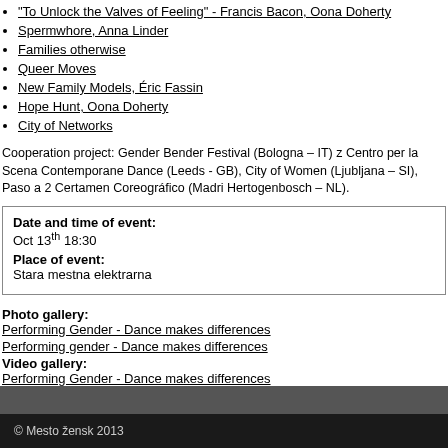"To Unlock the Valves of Feeling" - Francis Bacon, Oona Doherty
Spermwhore, Anna Linder
Families otherwise
Queer Moves
New Family Models, Éric Fassin
Hope Hunt, Oona Doherty
City of Networks
Cooperation project: Gender Bender Festival (Bologna – IT) z Centro per la Scena Contemporane Dance (Leeds - GB), City of Women (Ljubljana – SI), Paso a 2 Certamen Coreográfico (Madri Hertogenbosch – NL).
Date and time of event: Oct 13th 18:30 Place of event: Stara mestna elektrarna
Photo gallery: Performing Gender - Dance makes differences Performing gender - Dance makes differences Video gallery: Performing Gender - Dance makes differences
© Mesto žensk 2013